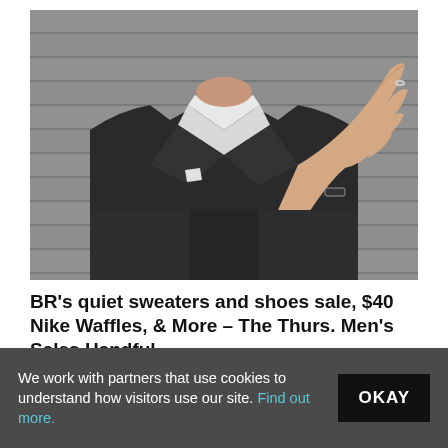[Figure (photo): Man in dark suit with white dress shirt raising his right hand with palm facing outward in a stop gesture, photographed against a gray background, torso and hand visible without the head fully shown.]
BR's quiet sweaters and shoes sale, $40 Nike Waffles, & More – The Thurs. Men's Sales Handful
Almost $100 off Vitale Barberis Canonico Italian Wool Flannels (trousers) at Brooks Brothers.
We work with partners that use cookies to understand how visitors use our site. Find out more.